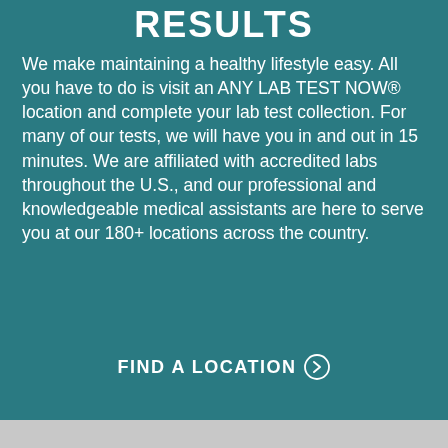RESULTS
We make maintaining a healthy lifestyle easy. All you have to do is visit an ANY LAB TEST NOW® location and complete your lab test collection. For many of our tests, we will have you in and out in 15 minutes. We are affiliated with accredited labs throughout the U.S., and our professional and knowledgeable medical assistants are here to serve you at our 180+ locations across the country.
FIND A LOCATION ❯